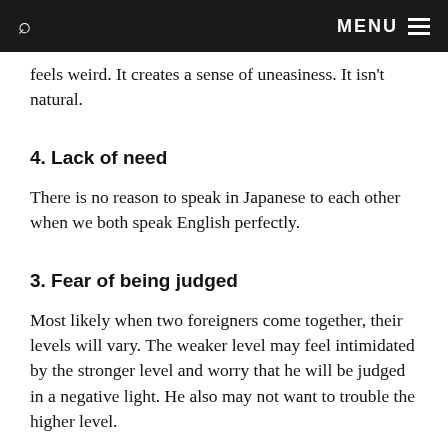MENU
feels weird. It creates a sense of uneasiness. It isn't natural.
4. Lack of need
There is no reason to speak in Japanese to each other when we both speak English perfectly.
3. Fear of being judged
Most likely when two foreigners come together, their levels will vary. The weaker level may feel intimidated by the stronger level and worry that he will be judged in a negative light. He also may not want to trouble the higher level.